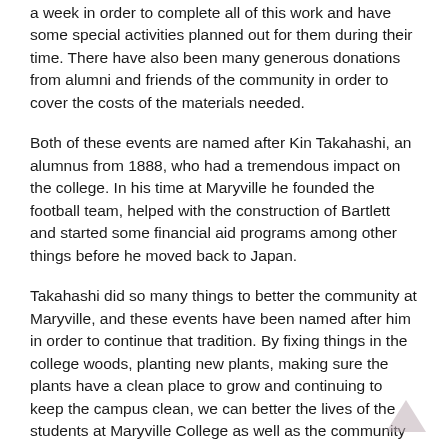a week in order to complete all of this work and have some special activities planned out for them during their time. There have also been many generous donations from alumni and friends of the community in order to cover the costs of the materials needed.
Both of these events are named after Kin Takahashi, an alumnus from 1888, who had a tremendous impact on the college. In his time at Maryville he founded the football team, helped with the construction of Bartlett and started some financial aid programs among other things before he moved back to Japan.
Takahashi did so many things to better the community at Maryville, and these events have been named after him in order to continue that tradition. By fixing things in the college woods, planting new plants, making sure the plants have a clean place to grow and continuing to keep the campus clean, we can better the lives of the students at Maryville College as well as the community